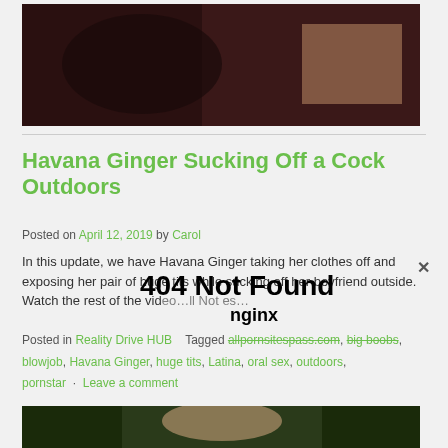[Figure (photo): Dark photograph at top of page]
Havana Ginger Sucking Off a Cock Outdoors
Posted on April 12, 2019 by Carol
In this update, we have Havana Ginger taking her clothes off and exposing her pair of huge tits while sucking off her boyfriend outside. Watch the rest of the vid…ll Not es…
Posted in Reality Drive HUB   Tagged allpornsitespass.com, big boobs, blowjob, Havana Ginger, huge tits, Latina, oral sex, outdoors, pornstar · Leave a comment
[Figure (photo): Partial image at bottom of page]
404 Not Found
nginx